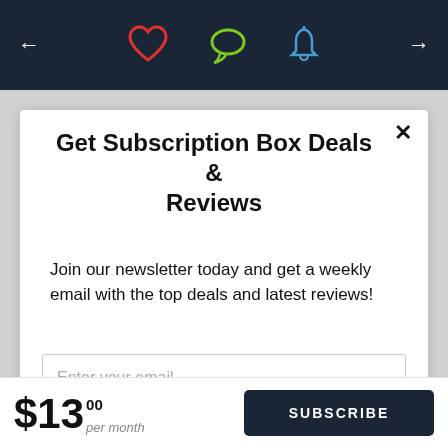[Figure (screenshot): Dark navy navigation bar with left arrow, right arrow, heart icon (red), speech bubble icon (green), and bell icon (blue)]
Get Subscription Box Deals & Reviews
Join our newsletter today and get a weekly email with the top deals and latest reviews!
Enter your email
Subscribe
$13.00 per month
SUBSCRIBE